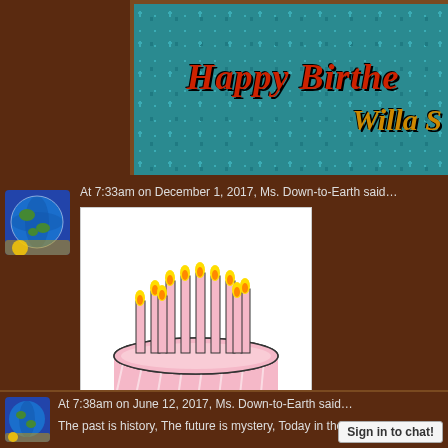[Figure (illustration): Happy Birthday banner with teal textured background and decorative text reading 'Happy Birthd...' and 'Willa S...' in orange, with brown/wood border]
At 7:33am on December 1, 2017, Ms. Down-to-Earth said...
[Figure (illustration): Birthday cake illustration: pink cake with many pink candles with yellow flames on white background]
At 7:38am on June 12, 2017, Ms. Down-to-Earth said...
The past is history, The future is mystery, Today in the pr...
Sign in to chat!